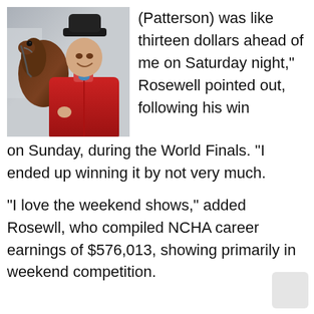[Figure (photo): Man in red jacket holding a horse, wearing a black cowboy hat]
(Patterson) was like thirteen dollars ahead of me on Saturday night,” Rosewell pointed out, following his win on Sunday, during the World Finals. “I ended up winning it by not very much.
“I love the weekend shows,” added Rosewll, who compiled NCHA career earnings of $576,013, showing primarily in weekend competition.